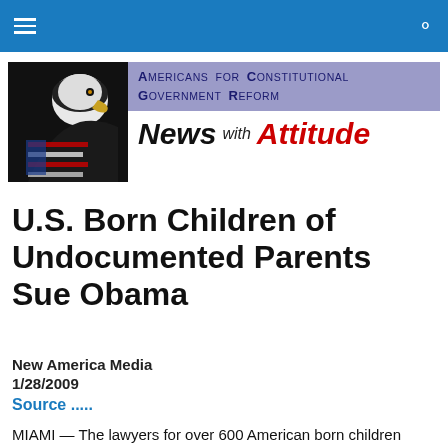Navigation bar with hamburger menu and search icon
[Figure (logo): Americans for Constitutional Government Reform logo with bald eagle image on left and organization name and 'News with Attitude' text on right]
U.S. Born Children of Undocumented Parents Sue Obama
New America Media
1/28/2009
Source .....
MIAMI — The lawyers for over 600 American born children